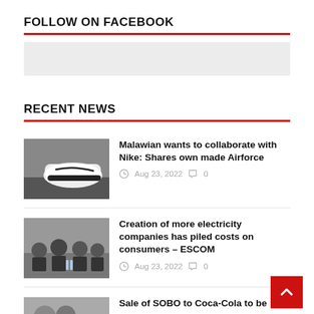FOLLOW ON FACEBOOK
[Figure (other): Gray placeholder box for Facebook widget]
RECENT NEWS
[Figure (photo): Photo of a white and black Nike Air Force shoe being made/held by hand]
Malawian wants to collaborate with Nike: Shares own made Airforce
Aug 23, 2022  0
[Figure (photo): Photo of several men in suits seated at a table, a formal meeting setting]
Creation of more electricity companies has piled costs on consumers – ESCOM
Aug 23, 2022  0
Sale of SOBO to Coca-Cola to be